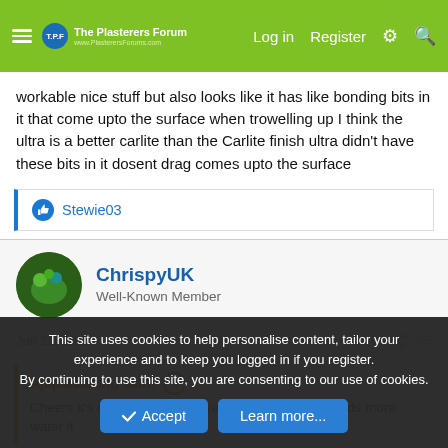The Plasterers Forum — Log in | Register
workable nice stuff but also looks like it has like bonding bits in it that come upto the surface when trowelling up I think the ultra is a better carlite than the Carlite finish ultra didn't have these bits in it dosent drag comes upto the surface
Stewie03
ChrispyUK
Well-Known Member
Jun 22, 2020  #5
Ajaplastering said:
Cheers it's nice when mixing very creamy think it needs more water it
This site uses cookies to help personalise content, tailor your experience and to keep you logged in if you register.
By continuing to use this site, you are consenting to our use of cookies.